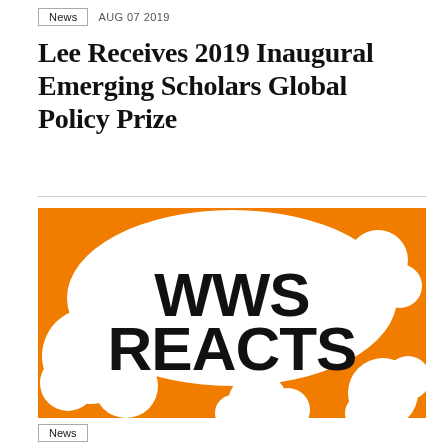News  AUG 07 2019
Lee Receives 2019 Inaugural Emerging Scholars Global Policy Prize
[Figure (illustration): WWS Reacts graphic: orange background with white speech bubbles and bold black text reading 'WWS REACTS']